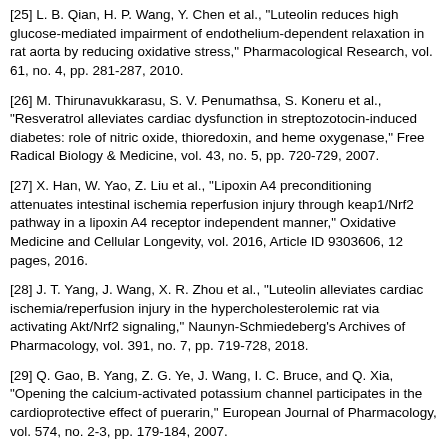[25] L. B. Qian, H. P. Wang, Y. Chen et al., "Luteolin reduces high glucose-mediated impairment of endothelium-dependent relaxation in rat aorta by reducing oxidative stress," Pharmacological Research, vol. 61, no. 4, pp. 281-287, 2010.
[26] M. Thirunavukkarasu, S. V. Penumathsa, S. Koneru et al., "Resveratrol alleviates cardiac dysfunction in streptozotocin-induced diabetes: role of nitric oxide, thioredoxin, and heme oxygenase," Free Radical Biology & Medicine, vol. 43, no. 5, pp. 720-729, 2007.
[27] X. Han, W. Yao, Z. Liu et al., "Lipoxin A4 preconditioning attenuates intestinal ischemia reperfusion injury through keap1/Nrf2 pathway in a lipoxin A4 receptor independent manner," Oxidative Medicine and Cellular Longevity, vol. 2016, Article ID 9303606, 12 pages, 2016.
[28] J. T. Yang, J. Wang, X. R. Zhou et al., "Luteolin alleviates cardiac ischemia/reperfusion injury in the hypercholesterolemic rat via activating Akt/Nrf2 signaling," Naunyn-Schmiedeberg's Archives of Pharmacology, vol. 391, no. 7, pp. 719-728, 2018.
[29] Q. Gao, B. Yang, Z. G. Ye, J. Wang, I. C. Bruce, and Q. Xia, "Opening the calcium-activated potassium channel participates in the cardioprotective effect of puerarin," European Journal of Pharmacology, vol. 574, no. 2-3, pp. 179-184, 2007.
[30] R. E. Nunez, S. Javadov, and N. Escobales, "Angiotensin II-preconditioning is associated with increased PKC[epsilon]/PKC[delta] ratio and prosurvival kinases in mitochondria," Clinical and Experimental Pharmacology & Physiology, vol. 44, no. 12, pp. 1201-1212, 2017.